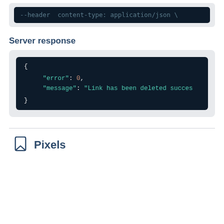[Figure (screenshot): Dark code block snippet showing HTTP header: --header 'content-type: application/json' \]
Server response
[Figure (screenshot): Dark code block showing JSON response: { "error": 0, "message": "Link has been deleted succes }]
Pixels